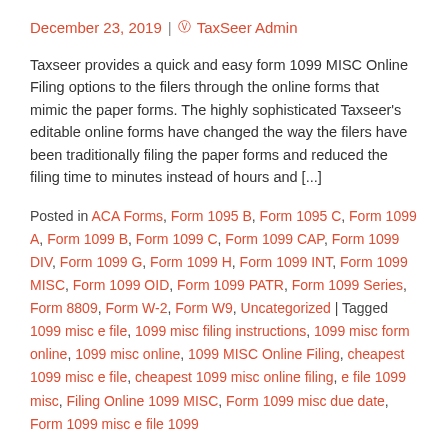December 23, 2019 | TaxSeer Admin
Taxseer provides a quick and easy form 1099 MISC Online Filing options to the filers through the online forms that mimic the paper forms. The highly sophisticated Taxseer’s editable online forms have changed the way the filers have been traditionally filing the paper forms and reduced the filing time to minutes instead of hours and [...]
Posted in ACA Forms, Form 1095 B, Form 1095 C, Form 1099 A, Form 1099 B, Form 1099 C, Form 1099 CAP, Form 1099 DIV, Form 1099 G, Form 1099 H, Form 1099 INT, Form 1099 MISC, Form 1099 OID, Form 1099 PATR, Form 1099 Series, Form 8809, Form W-2, Form W9, Uncategorized | Tagged 1099 misc e file, 1099 misc filing instructions, 1099 misc form online, 1099 misc online, 1099 MISC Online Filing, cheapest 1099 misc e file, cheapest 1099 misc online filing, e file 1099 misc, Filing Online 1099 MISC, Form 1099 misc due date, Form 1099 misc e file 1099